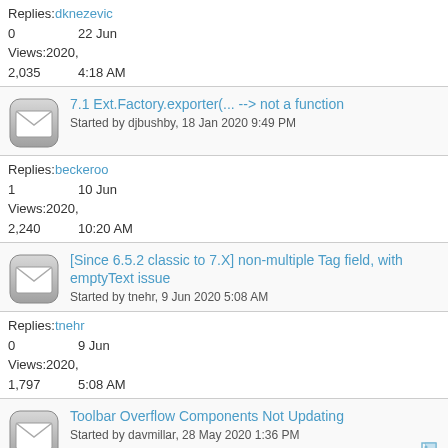Replies: dknezevic
0   22 Jun
Views: 2020,
2,035  4:18 AM
7.1 Ext.Factory.exporter(... --> not a function
Started by djbushby, 18 Jan 2020 9:49 PM
Replies: beckeroo
1   10 Jun
Views: 2020,
2,240  10:20 AM
[Since 6.5.2 classic to 7.X] non-multiple Tag field, with emptyText issue
Started by tnehr, 9 Jun 2020 5:08 AM
Replies: tnehr
0   9 Jun
Views: 2020,
1,797  5:08 AM
Toolbar Overflow Components Not Updating
Started by davmillar, 28 May 2020 1:36 PM